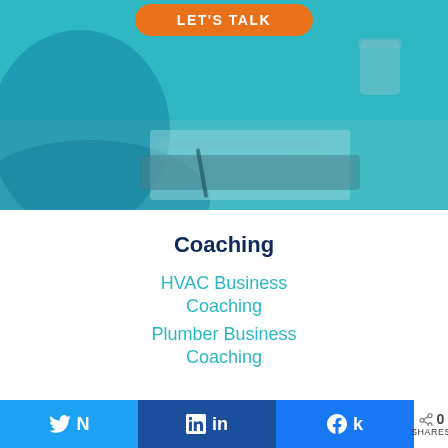[Figure (photo): Hero image showing a desk scene with hands and papers, overlaid with a teal/cyan color wash. An orange 'LET'S TALK' button appears at the top center.]
Coaching
HVAC Business Coaching
Plumber Business Coaching
Twitter share button | LinkedIn share button | Facebook share button | 0 SHARES